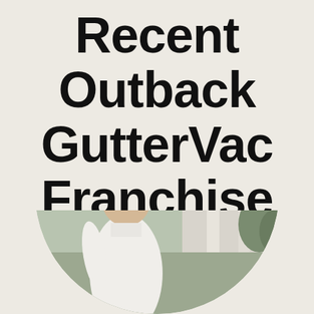Recent Outback GutterVac Franchise Articles
[Figure (photo): A person in a white shirt standing near a house exterior, shown in a circular cropped photo at the bottom of the page.]